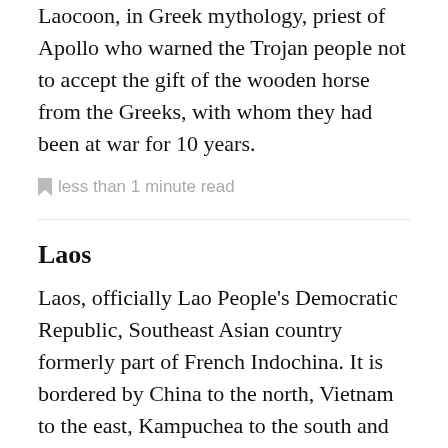Laocoon, in Greek mythology, priest of Apollo who warned the Trojan people not to accept the gift of the wooden horse from the Greeks, with whom they had been at war for 10 years.
less than 1 minute read
Laos
Laos, officially Lao People's Democratic Republic, Southeast Asian country formerly part of French Indochina. It is bordered by China to the north, Vietnam to the east, Kampuchea to the south and Thailand and Burma to the west. It is a small country (650 mi/1,046 km-long and in places barely 50